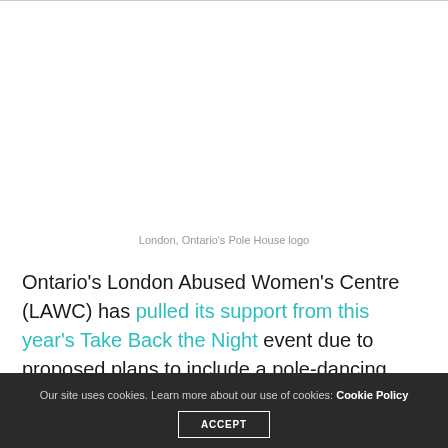[Figure (photo): London, Ontario's Pole House logo — white/blank image area]
London, Ontario's Pole House logo
Ontario's London Abused Women's Centre (LAWC) has pulled its support from this year's Take Back the Night event due to proposed plans to include a pole-dancing demonstration as part of
Our site uses cookies. Learn more about our use of cookies: Cookie Policy  ACCEPT